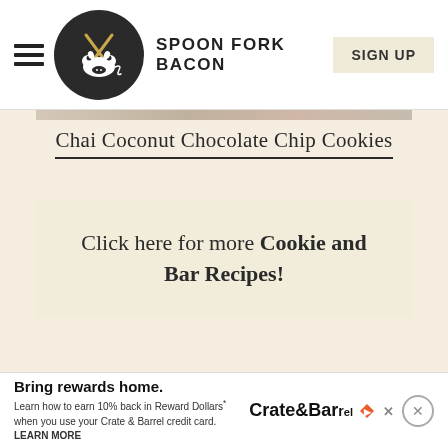SPOON FORK BACON | SIGN UP
Chai Coconut Chocolate Chip Cookies
Click here for more Cookie and Bar Recipes!
Bring rewards home. Learn how to earn 10% back in Reward Dollars* when you use your Crate & Barrel credit card. LEARN MORE | Crate&Barrel